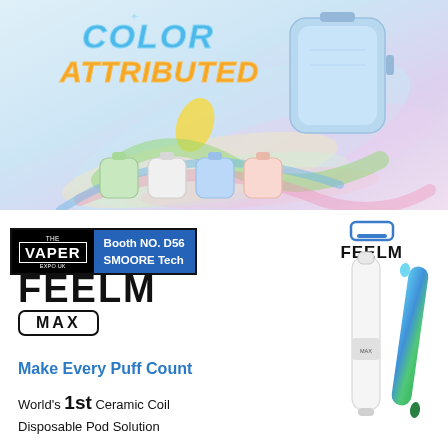[Figure (illustration): Colorful product advertisement banner with 'COLOR ATTRIBUTED' text in blue and orange italic font. Shows a light blue vape device prominently in center-right, with four smaller color variants (green, white, blue, pink) at the bottom. Background has swirling colorful abstract design elements in light blue, yellow, green, pink and purple tones.]
[Figure (illustration): White elongated vape pen device (FEELM MAX) standing vertically on left, and a gradient blue-green metallic slim vape pen on right, displayed against white background.]
Booth NO. D56 SMOORE Tech
FEELM MAX
Make Every Puff Count
World's 1st Ceramic Coil Disposable Pod Solution